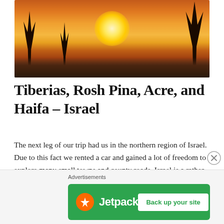[Figure (photo): Sunset scene with palm tree silhouettes against an orange sky, mountains in the background, likely a coastal or lakeside location in the Middle East]
Tiberias, Rosh Pina, Acre, and Haifa – Israel
The next leg of our trip had us in the northern region of Israel. Due to this fact we rented a car and gained a lot of freedom to explore many small towns and county roads. Israel is a rather small country only stretching 420 km north to south and west to east 114 km [...]
Advertisements
[Figure (screenshot): Jetpack advertisement banner with green background showing Jetpack logo and 'Back up your site' button]